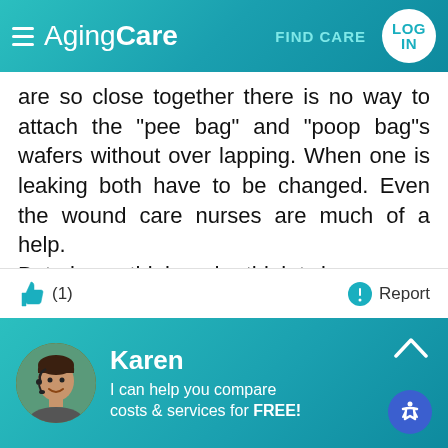AgingCare | FIND CARE | LOG IN
are so close together there is no way to attach the "pee bag" and "poop bag"s wafers without over lapping. When one is leaking both have to be changed. Even the wound care nurses are much of a help.
But please think and rethink twice or even three times about the bladder removal surgery. If our dads were years younger yes, but being older.....let them grow older and just enjoy every day they with us. Prayers to you and yours.
(1)  Report
Karen
I can help you compare costs & services for FREE!